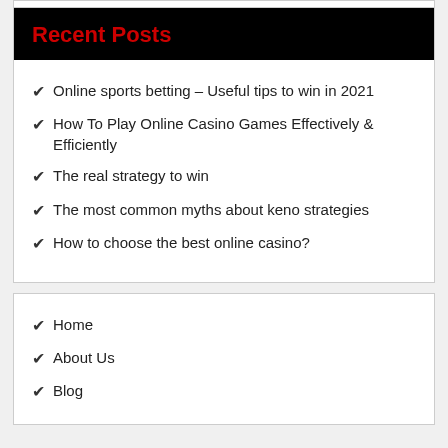Recent Posts
Online sports betting – Useful tips to win in 2021
How To Play Online Casino Games Effectively & Efficiently
The real strategy to win
The most common myths about keno strategies
How to choose the best online casino?
Home
About Us
Blog